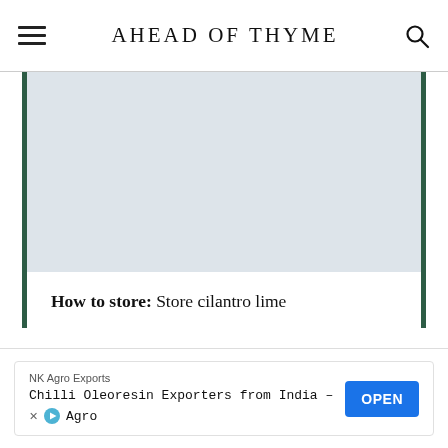AHEAD OF THYME
[Figure (photo): Large image area with light blue-gray background, bordered by dark green vertical bars on left and right sides]
How to store: Store cilantro lime
NK Agro Exports
Chilli Oleoresin Exporters from India – NK Agro
OPEN